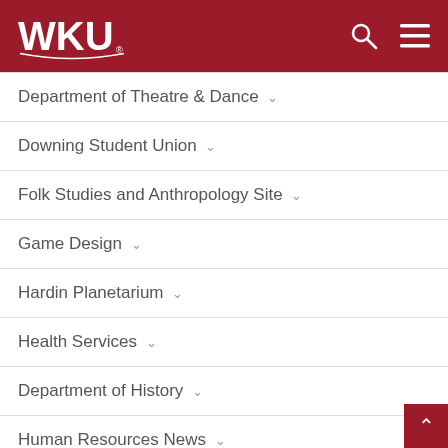WKU
Department of Theatre & Dance
Downing Student Union
Folk Studies and Anthropology Site
Game Design
Hardin Planetarium
Health Services
Department of History
Human Resources News
Kentucky High School Media Institute News
Kinesiology, Recreation & Sport